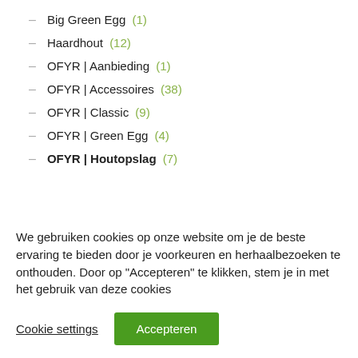Big Green Egg (1)
Haardhout (12)
OFYR | Aanbieding (1)
OFYR | Accessoires (38)
OFYR | Classic (9)
OFYR | Green Egg (4)
OFYR | Houtopslag (7)
We gebruiken cookies op onze website om je de beste ervaring te bieden door je voorkeuren en herhaalbezoeken te onthouden. Door op "Accepteren" te klikken, stem je in met het gebruik van deze cookies
Cookie settings  Accepteren